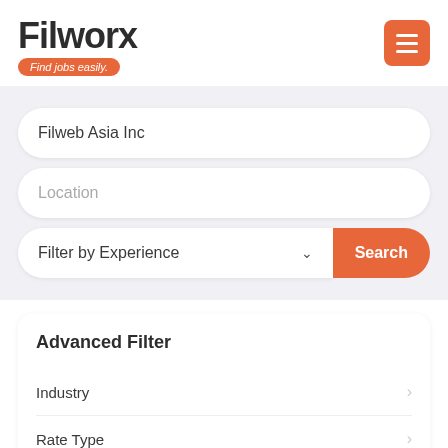[Figure (logo): Filworx logo with tagline 'Find jobs easily.' on an orange pill badge]
[Figure (other): Orange hamburger menu button with three white horizontal lines]
Filweb Asia Inc
Location
Filter by Experience
Search
Advanced Filter
Industry
Rate Type